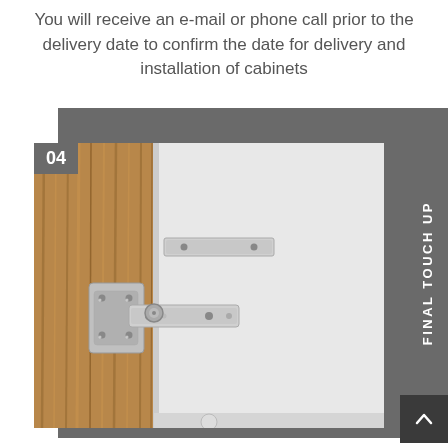You will receive an e-mail or phone call prior to the delivery date to confirm the date for delivery and installation of cabinets
[Figure (photo): Close-up photo of a silver cabinet door hinge mechanism mounted on a wood-grain cabinet door panel, with 'FINAL TOUCH UP' text vertically on the right side and a '04' step number label in the top-left corner.]